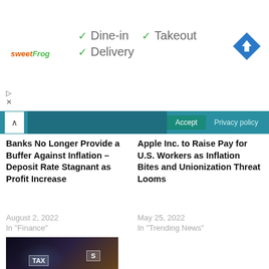[Figure (screenshot): Advertisement banner for sweetFrog with check marks for Dine-in, Takeout, Delivery options and a navigation icon]
[Figure (screenshot): Cookie consent bar with Accept and Privacy policy buttons]
Banks No Longer Provide a Buffer Against Inflation – Deposit Rate Stagnant as Profit Increase
August 2, 2022
In "Finance"
Apple Inc. to Raise Pay for U.S. Workers as Inflation Bites and Unionization Threat Looms
May 25, 2022
In "Trending News"
[Figure (photo): Photo of hands typing on laptop with holographic TAX and S icons floating above]
New US Tax Bill Allows a Lower Tax Burden on the Middle Class and More for